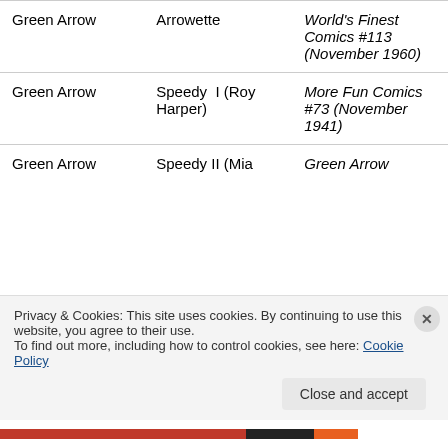| Hero | Sidekick | First Appearance |
| --- | --- | --- |
| Green Arrow | Arrowette | World's Finest Comics #113 (November 1960) |
| Green Arrow | Speedy I (Roy Harper) | More Fun Comics #73 (November 1941) |
| Green Arrow | Speedy II (Mia | Green Arrow |
Privacy & Cookies: This site uses cookies. By continuing to use this website, you agree to their use.
To find out more, including how to control cookies, see here: Cookie Policy
Close and accept